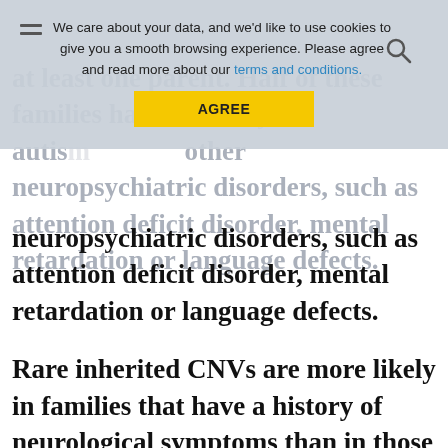at least one parent. Half of these families have a history of autis... other neuropsychiatric disorders, such as attention deficit disorder, mental retardation or language defects.
We care about your data, and we'd like to use cookies to give you a smooth browsing experience. Please agree and read more about our terms and conditions.
AGREE
neuropsychiatric disorders, such as attention deficit disorder, mental retardation or language defects.
Rare inherited CNVs are more likely in families that have a history of neurological symptoms than in those without, suggesting that these CNVs may contribute to autism in combination with other, unknown, factors.